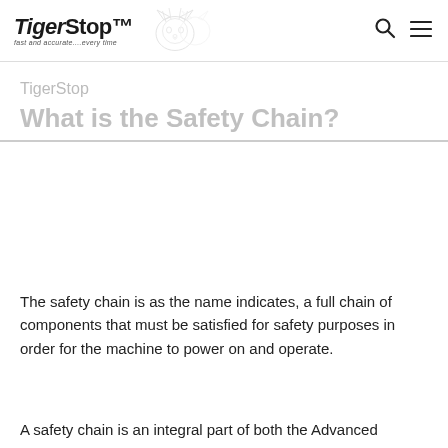TigerStop — fast and accurate....every time
TigerStop
What is the Safety Chain?
The safety chain is as the name indicates, a full chain of components that must be satisfied for safety purposes in order for the machine to power on and operate.
A safety chain is an integral part of both the Advanced Interconnect